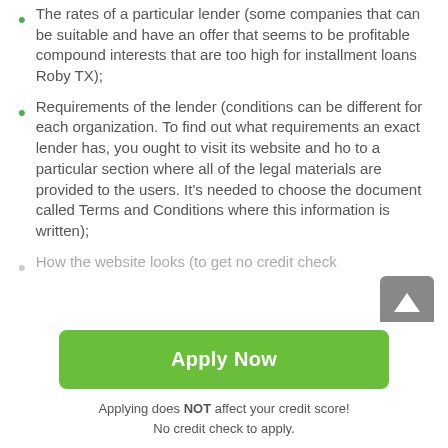The rates of a particular lender (some companies that can be suitable and have an offer that seems to be profitable compound interests that are too high for installment loans Roby TX);
Requirements of the lender (conditions can be different for each organization. To find out what requirements an exact lender has, you ought to visit its website and ho to a particular section where all of the legal materials are provided to the users. It's needed to choose the document called Terms and Conditions where this information is written);
How the website looks (to get no credit check
Apply Now
Applying does NOT affect your credit score! No credit check to apply.